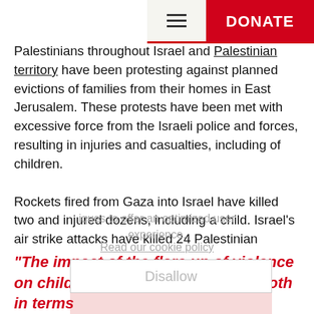[Figure (screenshot): Navigation bar with hamburger menu icon and red DONATE button]
Palestinians throughout Israel and Palestinian territory have been protesting against planned evictions of families from their homes in East Jerusalem. These protests have been met with excessive force from the Israeli police and forces, resulting in injuries and casualties, including of children.
Rockets fired from Gaza into Israel have killed two and injured dozens, including a child. Israel's air strike attacks have killed 24 Palestinian civilians, including 10 children, and injured more than 100 people. One family has lost all three children.
“The impact of the flare up of violence on children and youth is severe - both in terms